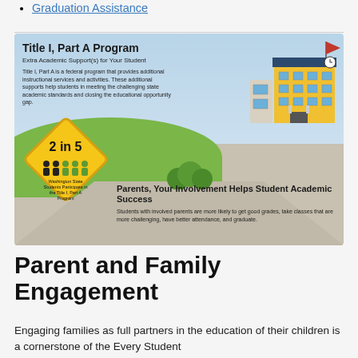Graduation Assistance
[Figure (infographic): Title I, Part A Program infographic showing a school building, a yellow diamond road sign reading '2 in 5 Washington State Students Participate in the Title I, Part A Program', and text about parent and family involvement helping student academic success.]
Parent and Family Engagement
Engaging families as full partners in the education of their children is a cornerstone of the Every Student